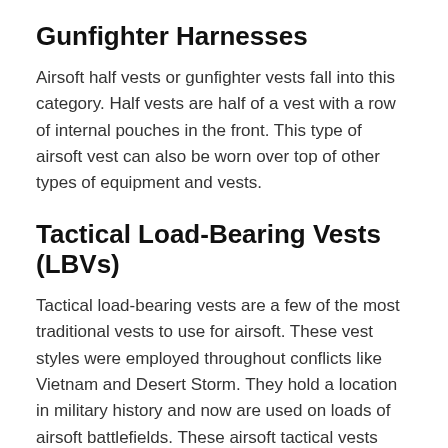Gunfighter Harnesses
Airsoft half vests or gunfighter vests fall into this category. Half vests are half of a vest with a row of internal pouches in the front. This type of airsoft vest can also be worn over top of other types of equipment and vests.
Tactical Load-Bearing Vests (LBVs)
Tactical load-bearing vests are a few of the most traditional vests to use for airsoft. These vest styles were employed throughout conflicts like Vietnam and Desert Storm. They hold a location in military history and now are used on loads of airsoft battlefields. These airsoft tactical vests feature 6 integrated M4 magazine pouches with